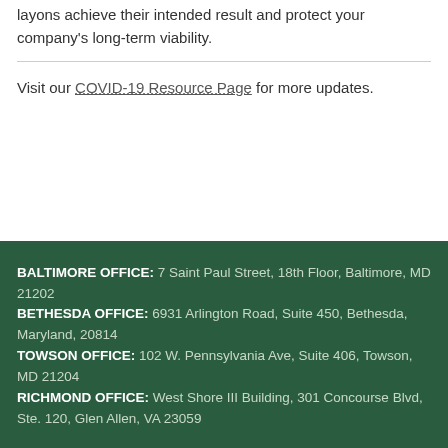layons achieve their intended result and protect your company's long-term viability.
Visit our COVID-19 Resource Page for more updates.
BALTIMORE OFFICE: 7 Saint Paul Street, 18th Floor, Baltimore, MD 21202
BETHESDA OFFICE: 6931 Arlington Road, Suite 450, Bethesda, Maryland, 20814
TOWSON OFFICE: 102 W. Pennsylvania Ave, Suite 406, Towson, MD 21204
RICHMOND OFFICE: West Shore III Building, 301 Concourse Blvd, Ste. 120, Glen Allen, VA 23059